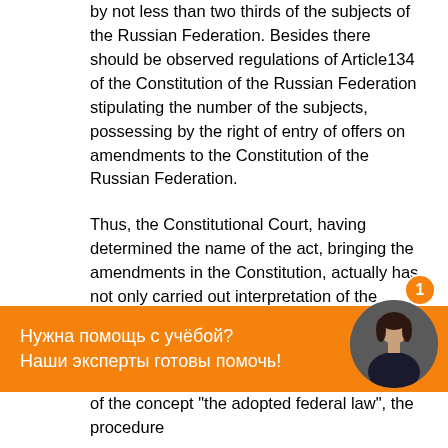by not less than two thirds of the subjects of the Russian Federation. Besides there should be observed regulations of Article134 of the Constitution of the Russian Federation stipulating the number of the subjects, possessing by the right of entry of offers on amendments to the Constitution of the Russian Federation.
Thus, the Constitutional Court, having determined the name of the act, bringing the amendments in the Constitution, actually has not only carried out interpretation of the Constitution, but has also made the addition to it.
The Resolution of the Constitutional Court of the Russian Federation from April 22nd, 1996 on the case about interpretation of separate regulations of Article 107 of the Constitution of the Russian Federation has
[Figure (other): Orange chat/help banner with Russian text 'Нужна помощь с учёбой? Наши эксперты готовы помочь!' and a circular avatar photo of a woman, plus a notification badge showing '1']
of the concept "the adopted federal law", the procedure